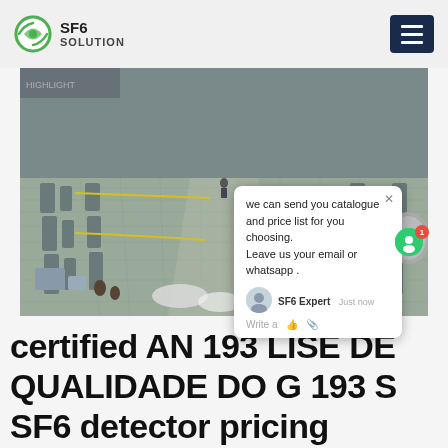SF6 SOLUTION
[Figure (photo): Aerial view of an industrial electrical substation facility with equipment rows and a chat popup overlay showing 'we can send you catalogue and price list for you choosing. Leave us your email or whatsapp.' with SF6 Expert agent label and SF6China watermark.]
certified AN 193 LISE DE QUALIDADE DO G 193 S SF6 detector pricing